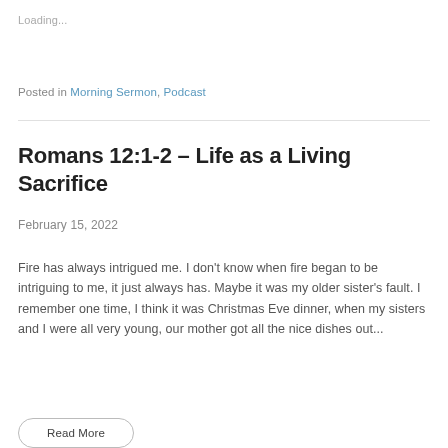Loading...
Posted in Morning Sermon, Podcast
Romans 12:1-2 – Life as a Living Sacrifice
February 15, 2022
Fire has always intrigued me. I don't know when fire began to be intriguing to me, it just always has. Maybe it was my older sister's fault. I remember one time, I think it was Christmas Eve dinner, when my sisters and I were all very young, our mother got all the nice dishes out...